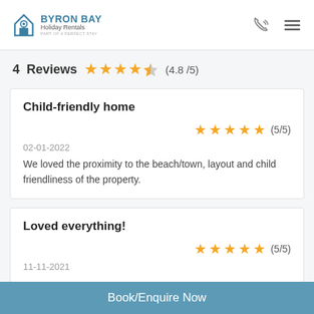Byron Bay Holiday Rentals — Part of a Perfect Stay
4  Reviews  (4.8/5)
Child-friendly home
(5/5)
02-01-2022
We loved the proximity to the beach/town, layout and child friendliness of the property.
Loved everything!
(5/5)
11-11-2021
Book/Enquire Now